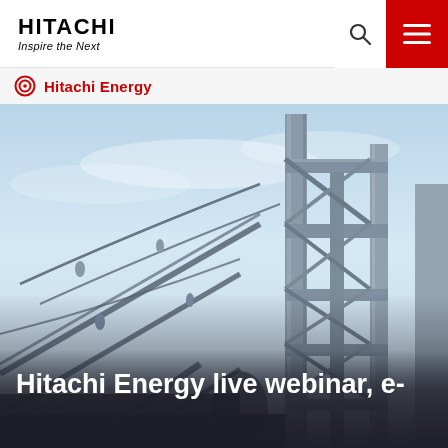HITACHI Inspire the Next
Hitachi Energy
[Figure (photo): Looking up at steel lattice structure / power substation framework against a blue sky, industrial electricity infrastructure]
Hitachi Energy live webinar, e-